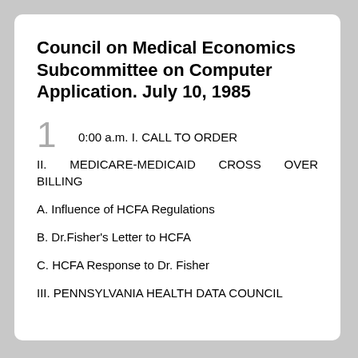Council on Medical Economics Subcommittee on Computer Application. July 10, 1985
0:00 a.m. I. CALL TO ORDER
II. MEDICARE-MEDICAID CROSS OVER BILLING
A. Influence of HCFA Regulations
B. Dr.Fisher's Letter to HCFA
C. HCFA Response to Dr. Fisher
III. PENNSYLVANIA HEALTH DATA COUNCIL